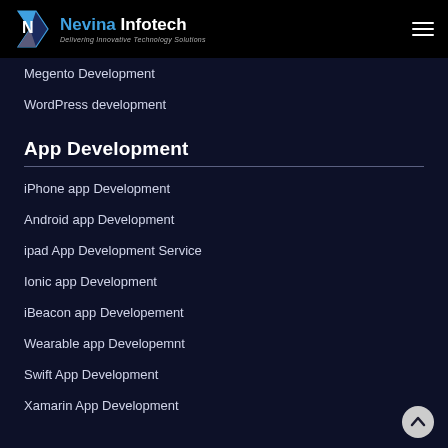Nevina Infotech — Delivering Innovative Technology Solutions
Megento Development
WordPress development
App Development
iPhone app Development
Android app Development
ipad App Development Service
Ionic app Development
iBeacon app Developement
Wearable app Developemnt
Swift App Development
Xamarin App Development